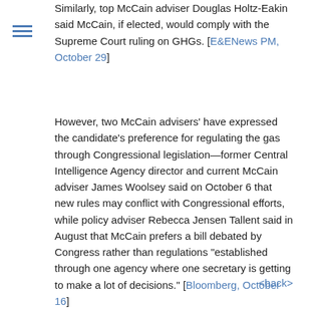Similarly, top McCain adviser Douglas Holtz-Eakin said McCain, if elected, would comply with the Supreme Court ruling on GHGs. [E&ENews PM, October 29]
However, two McCain advisers' have expressed the candidate's preference for regulating the gas through Congressional legislation—former Central Intelligence Agency director and current McCain adviser James Woolsey said on October 6 that new rules may conflict with Congressional efforts, while policy adviser Rebecca Jensen Tallent said in August that McCain prefers a bill debated by Congress rather than regulations "established through one agency where one secretary is getting to make a lot of decisions." [Bloomberg, October 16]
<back>